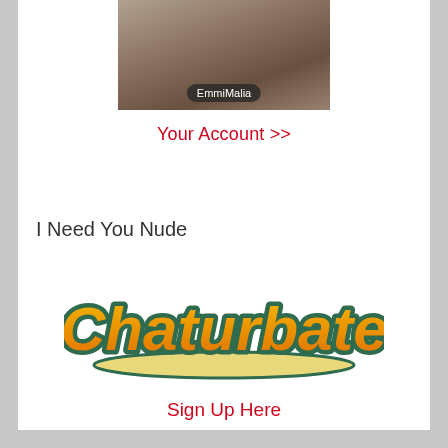[Figure (photo): Webcam thumbnail photo with username label 'EmmiMalia' overlaid at the bottom center]
Your Account >>
I Need You Nude
[Figure (logo): Chaturbate logo - orange/yellow script lettering with teal outline on white background]
Sign Up Here